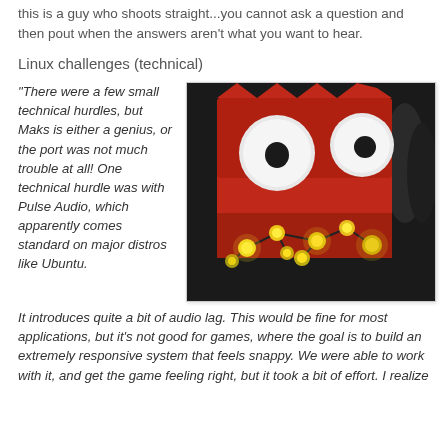this is a guy who shoots straight...you cannot ask a question and then pout when the answers aren't what you want to hear.
Linux challenges (technical)
"There were a few small technical hurdles, but Maks is either a genius, or the port was not much trouble at all! One technical hurdle was with Pulse Audio, which apparently comes standard on major distros like Ubuntu. It introduces quite a bit of audio lag. This would be fine for most applications, but it's not good for games, where the goal is to build an extremely responsive system that feels snappy. We were able to work with it, and get the game feeling right, but it took a bit of effort. I realize
[Figure (photo): A red cartoon robot character with large white circular eyes with black pupils, and a glowing yellow-green network/node structure in its lower body area, against a dark background.]